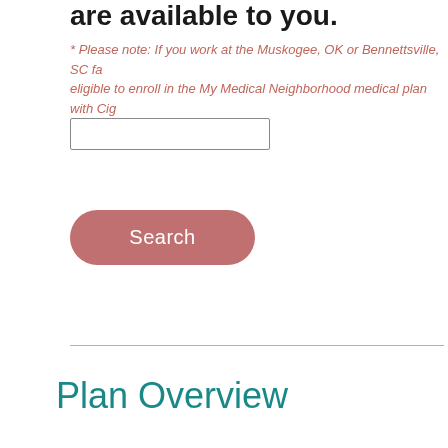are available to you.
* Please note: If you work at the Muskogee, OK or Bennettsville, SC fa eligible to enroll in the My Medical Neighborhood medical plan with Cig
Plan Overview